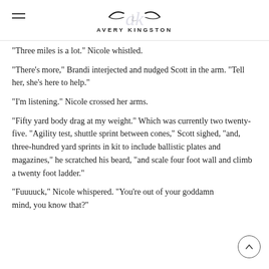AVERY KINGSTON
“Three miles is a lot.” Nicole whistled.
“There’s more,” Brandi interjected and nudged Scott in the arm. “Tell her, she’s here to help.”
“I’m listening.” Nicole crossed her arms.
“Fifty yard body drag at my weight.” Which was currently two twenty-five. “Agility test, shuttle sprint between cones,” Scott sighed, “and, three-hundred yard sprints in kit to include ballistic plates and magazines,” he scratched his beard, “and scale four foot wall and climb a twenty foot ladder.”
“Fuuuuck,” Nicole whispered. “You’re out of your goddamn mind, you know that?”